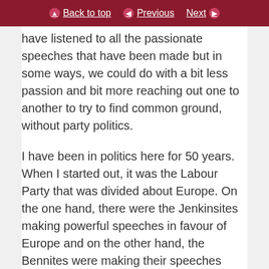Back to top | Previous | Next
have listened to all the passionate speeches that have been made but in some ways, we could do with a bit less passion and bit more reaching out one to another to try to find common ground, without party politics.
I have been in politics here for 50 years. When I started out, it was the Labour Party that was divided about Europe. On the one hand, there were the Jenkinsites making powerful speeches in favour of Europe and on the other hand, the Bennites were making their speeches against. I worked for a man some noble Lords will remember, Tony Crosland. He refused to be strung out like that. He was a pro-European in principle, but he refused to think it was the most important issue facing the nation.